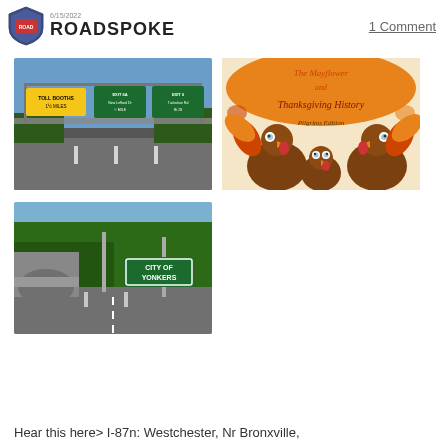ROADSPOKE
1 Comment
[Figure (photo): Highway road signs showing toll booths 1-1/2 miles and exit signs for New Leffard Dr and Tuckahoe Rd]
[Figure (illustration): Colorful illustration with text 'and Thanksgiving History - Pilgrims Edition' featuring cartoon turkeys on orange and cream background]
[Figure (photo): Road photo showing City of Yonkers green sign on a parkway with trees and a stone bridge]
Hear this here> I-87n: Westchester, Nr Bronxville,